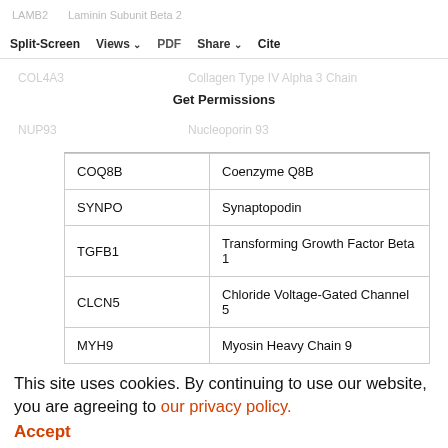LAMB2 | Laminin Subunit Beta 2
Split-Screen  Views  PDF  Share  Cite
| Gene | Name |
| --- | --- |
| COL4A3 | Collagen Type IV Alpha 3 Chain |
| NUP93 | Nucleoporin 93 |
| COQ8B | Coenzyme Q8B |
| SYNPO | Synaptopodin |
| TGFB1 | Transforming Growth Factor Beta 1 |
| CLCN5 | Chloride Voltage-Gated Channel 5 |
| MYH9 | Myosin Heavy Chain 9 |
| LOC107985291 | Uncharacterized LOC107985291 |
| COL4A4 | Collagen Type IV Alpha 4 Chain |
| NUP205 | Nucleoporin 205 |
This site uses cookies. By continuing to use our website, you are agreeing to our privacy policy.
Accept